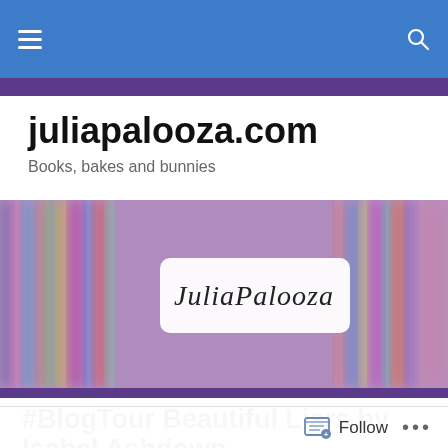juliapalooza.com navigation bar
juliapalooza.com
Books, bakes and bunnies
[Figure (illustration): Hero banner showing colorful blurred bookshelves with a white rounded rectangle overlay containing cursive text 'JuliaPalooza' in the center]
#BlogTour Beautiful Liars by Isabel Ashdown #BeautifulLiars
Follow ...